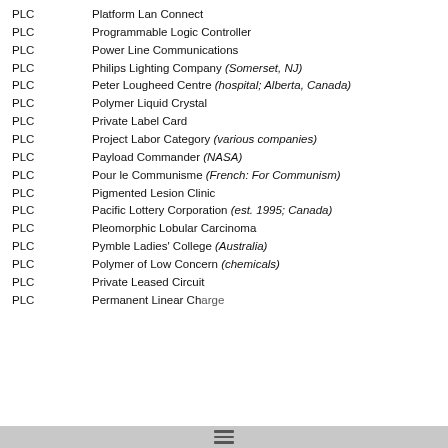PLC   Platform Lan Connect
PLC   Programmable Logic Controller
PLC   Power Line Communications
PLC   Philips Lighting Company (Somerset, NJ)
PLC   Peter Lougheed Centre (hospital; Alberta, Canada)
PLC   Polymer Liquid Crystal
PLC   Private Label Card
PLC   Project Labor Category (various companies)
PLC   Payload Commander (NASA)
PLC   Pour le Communisme (French: For Communism)
PLC   Pigmented Lesion Clinic
PLC   Pacific Lottery Corporation (est. 1995; Canada)
PLC   Pleomorphic Lobular Carcinoma
PLC   Pymble Ladies' College (Australia)
PLC   Polymer of Low Concern (chemicals)
PLC   Private Leased Circuit
PLC   Permanent Linear Ch...